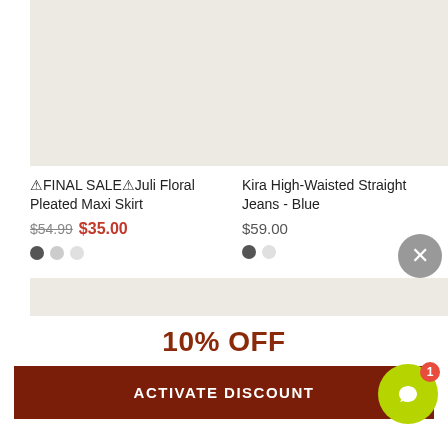[Figure (photo): Product image placeholder for Juli Floral Pleated Maxi Skirt (light beige/cream background)]
🔴FINAL SALE🔴Juli Floral Pleated Maxi Skirt
$54.99  $35.00
[Figure (photo): Product image placeholder for Kira High-Waisted Straight Jeans - Blue (light beige/cream background)]
Kira High-Waisted Straight Jeans - Blue
$59.00
[Figure (photo): Second row product image placeholder left]
[Figure (photo): Second row product image placeholder right]
10% OFF
ACTIVATE DISCOUNT